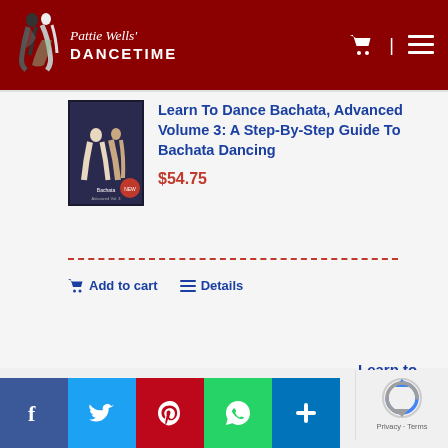[Figure (logo): Pattie Wells' Dancetime logo with dancing couple silhouette on dark red background]
[Figure (illustration): DVD cover image for Learn To Dance Bachata Advanced Volume 3]
Learn To Dance Bachata, Advanced Volume 3: A Step-By-Step Guide To Bachata Dancing
$54.75
Add to cart   Details
[Figure (illustration): Social media share icons: Facebook, Twitter, Pinterest, WhatsApp, Share]
Learn to Dance Bachata: Volume